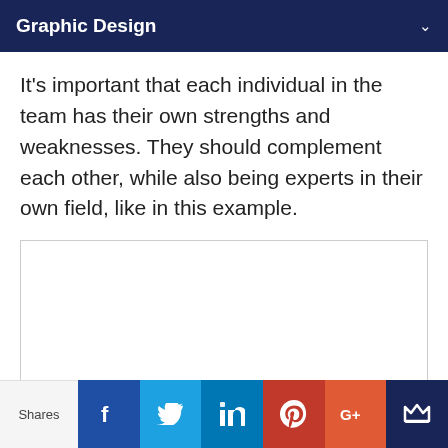Graphic Design
It's important that each individual in the team has their own strengths and weaknesses. They should complement each other, while also being experts in their own field, like in this example.
[Figure (other): A white content box with a loading spinner icon at the bottom center, indicating an image or embed is loading.]
Shares | Facebook | Twitter | LinkedIn | Pinterest | Google+ | Crown